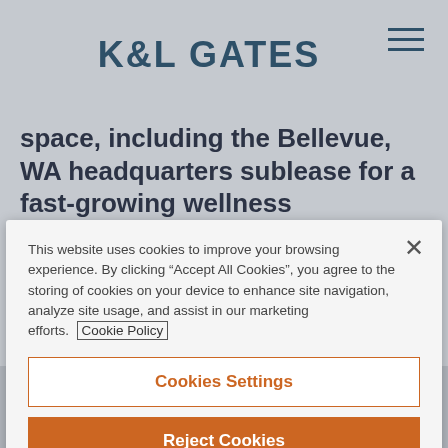K&L GATES
space, including the Bellevue, WA headquarters sublease for a fast-growing wellness technology start-up.
Advised a life insurance company in the $35 million financing of a newly-
This website uses cookies to improve your browsing experience. By clicking “Accept All Cookies”, you agree to the storing of cookies on your device to enhance site navigation, analyze site usage, and assist in our marketing efforts. Cookie Policy
Cookies Settings
Reject Cookies